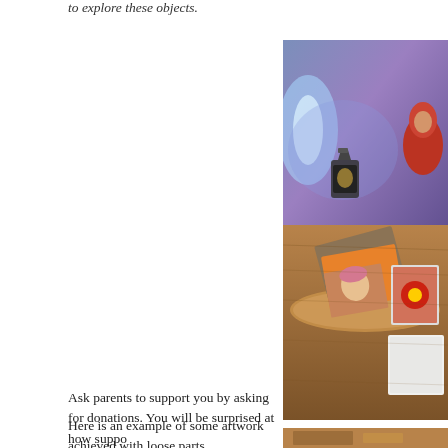to explore these objects.
[Figure (photo): A wooden table with a lantern lit with blue/purple light, a knitted red animal figurine, books including one titled 'Leaves', a child wearing a pink hat, and some photos/cards arranged on a natural wood slice.]
Ask parents to support you by asking for donations. You will be surprised at how suppo
Here is an example of some artwork achieved with loose parts.
[Figure (photo): Partial view of another photo at the bottom of the page showing artwork with loose parts.]